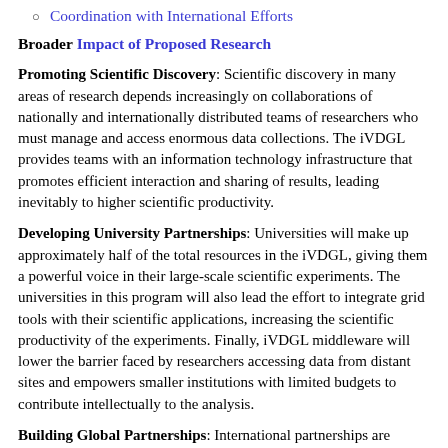Coordination with International Efforts
Broader Impact of Proposed Research
Promoting Scientific Discovery: Scientific discovery in many areas of research depends increasingly on collaborations of nationally and internationally distributed teams of researchers who must manage and access enormous data collections. The iVDGL provides teams with an information technology infrastructure that promotes efficient interaction and sharing of results, leading inevitably to higher scientific productivity.
Developing University Partnerships: Universities will make up approximately half of the total resources in the iVDGL, giving them a powerful voice in their large-scale scientific experiments. The universities in this program will also lead the effort to integrate grid tools with their scientific applications, increasing the scientific productivity of the experiments. Finally, iVDGL middleware will lower the barrier faced by researchers accessing data from distant sites and empowers smaller institutions with limited budgets to contribute intellectually to the analysis.
Building Global Partnerships: International partnerships are interwoven throughout the iVDGL, as seen by the geographical spread of the iVDGL sites, the collaborations with other